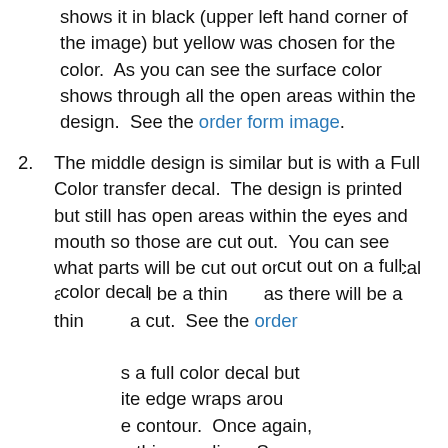shows it in black (upper left hand corner of the image) but yellow was chosen for the color.  As you can see the surface color shows through all the open areas within the design.  See the order form image.
2. The middle design is similar but is with a Full Color transfer decal.  The design is printed but still has open areas within the eyes and mouth so those are cut out.  You can see what parts will be cut out on a full color decal as there will be a thin [line where there's] a cut.  See the order [form image.] [It] is a full color decal but [the wh]ite edge wraps aroun[d the] contour.  Once again, [indicated by] a thin gray line.  See [text] te that we have [text on the] website where the [text continues]
[Figure (infographic): Cookie consent popup with green checkmark icon, text 'This site uses cookies to personalize your shopping experience. See our cookie policy for further information on how this information is used.' and orange 'Got It!' button]